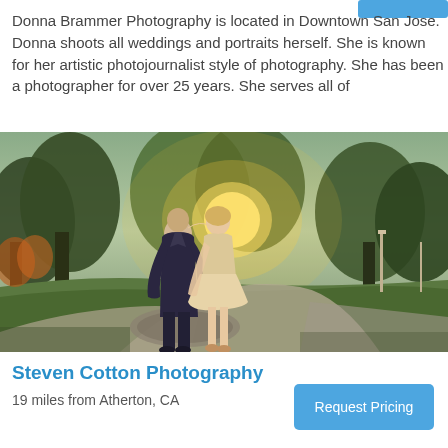Donna Brammer Photography is located in Downtown San Jose. Donna shoots all weddings and portraits herself. She is known for her artistic photojournalist style of photography. She has been a photographer for over 25 years. She serves all of
[Figure (photo): A couple kissing outdoors at sunset on a curved driveway, surrounded by trees and green lawn. The man is in a dark suit, the woman in a short lace dress.]
Steven Cotton Photography
19 miles from Atherton, CA
Request Pricing